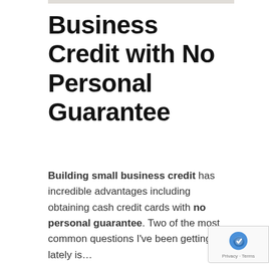Business Credit with No Personal Guarantee
Building small business credit has incredible advantages including obtaining cash credit cards with no personal guarantee. Two of the most common questions I've been getting lately is…
Are no personal guarantee businesss credit cards still available in the marketplace?